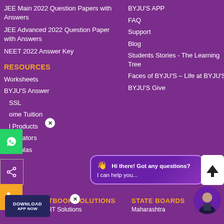JEE Main 2022 Question Papers with Answers
JEE Advanced 2022 Question Paper with Answers
NEET 2022 Answer Key
RESOURCES
Worksheets
BYJU'S Answer
SSL
ome Tuition
l Products
alculators
ormulas
BYJU'S APP
FAQ
Support
Blog
Students Stories - The Learning Tree
Faces of BYJU'S – Life at BYJU'S
BYJU'S Give
[Figure (screenshot): Chat bubble popup: Hi there! Got any questions? I can help you...]
[Figure (screenshot): Upload/scroll arrow button]
[Figure (screenshot): WhatsApp floating button]
[Figure (screenshot): Share floating button]
[Figure (screenshot): Phone call floating button]
[Figure (screenshot): Download App NOW button with close X]
[Figure (photo): Avatar of a person in suit]
TEXTBOOK SOLUTIONS
NCERT Solutions
STATE BOARDS
Maharashtra